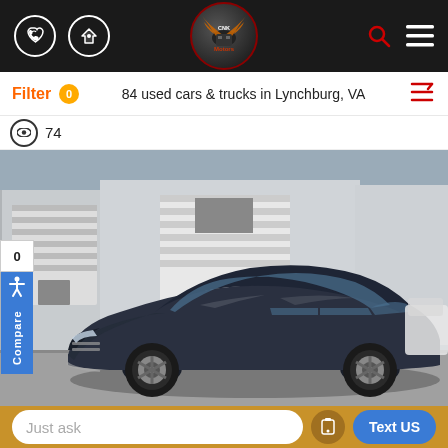[Figure (screenshot): CNK Motors dealer website mobile screenshot showing navigation bar with phone icon, directions icon, CNK Motors logo in center, search and menu icons on right]
Filter 0   84 used cars & trucks in Lynchburg, VA
👁 74
[Figure (photo): Dark blue/gray Chevrolet Malibu sedan parked in a dealer lot in front of a white metal building with garage doors. Another white car visible in the background on the right.]
0  Compare  ♿
Just ask    📱   Text US